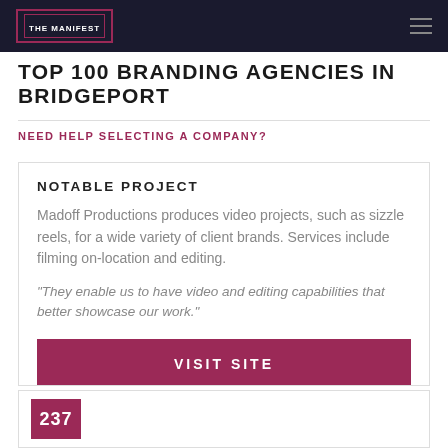THE MANIFEST
TOP 100 BRANDING AGENCIES IN BRIDGEPORT
NEED HELP SELECTING A COMPANY?
NOTABLE PROJECT
Madoff Productions produces video projects, such as sizzle reels, for a wide variety of client brands. Services include filming on-location and editing.
"They enable us to have video and editing capabilities that better showcase our work."
VISIT SITE
237